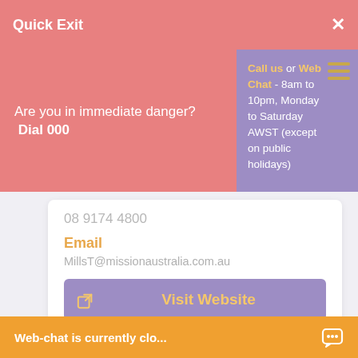Quick Exit
Are you in immediate danger?  Dial 000
Call us or Web Chat - 8am to 10pm, Monday to Saturday AWST (except on public holidays)
08 9174 4800
Email
MillsT@missionaustralia.com.au
Visit Website
Suggest an edit
St John Am... Port Hedla...
Web-chat is currently clo...